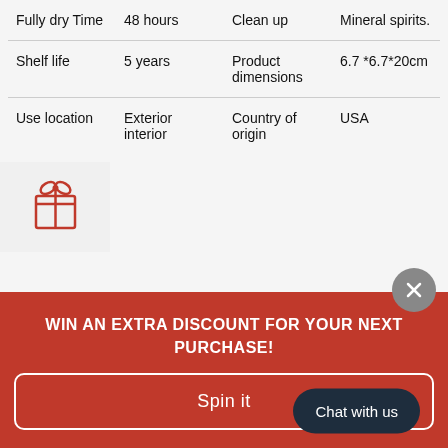| Fully dry Time | 48 hours | Clean up | Mineral spirits. |
| Shelf life | 5 years | Product dimensions | 6.7 *6.7*20cm |
| Use location | Exterior interior | Country of origin | USA |
[Figure (illustration): Red gift box icon with ribbon and bow]
WIN AN EXTRA DISCOUNT FOR YOUR NEXT PURCHASE!
Spin it
Chat with us